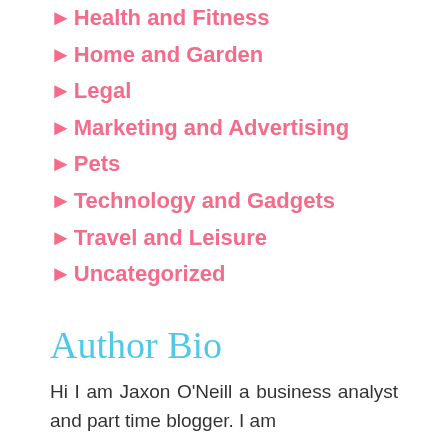►Health and Fitness
►Home and Garden
►Legal
►Marketing and Advertising
►Pets
►Technology and Gadgets
►Travel and Leisure
►Uncategorized
Author Bio
Hi I am Jaxon O'Neill a business analyst and part time blogger. I am